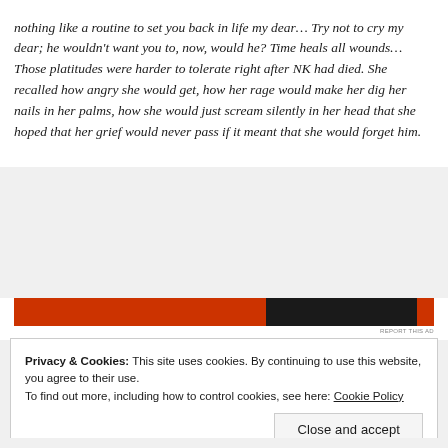nothing like a routine to set you back in life my dear… Try not to cry my dear; he wouldn't want you to, now, would he? Time heals all wounds… Those platitudes were harder to tolerate right after NK had died. She recalled how angry she would get, how her rage would make her dig her nails in her palms, how she would just scream silently in her head that she hoped that her grief would never pass if it meant that she would forget him.
[Figure (other): Horizontal advertisement bar with orange and black sections and small red section on right]
Privacy & Cookies: This site uses cookies. By continuing to use this website, you agree to their use.
To find out more, including how to control cookies, see here: Cookie Policy
Close and accept